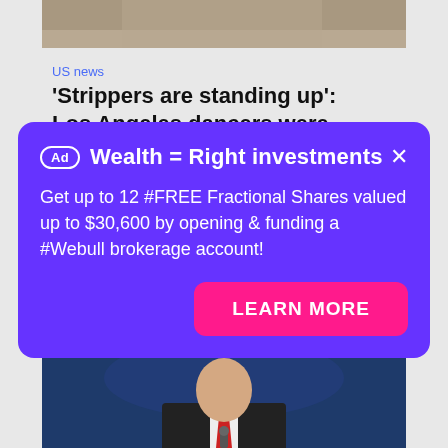[Figure (photo): Top portion of a photo, partially cropped, showing a scene from above]
US news
'Strippers are standing up': Los Angeles dancers were
[Figure (infographic): Purple advertisement overlay with Ad badge, headline 'Wealth = Right investments', body text about free fractional shares via Webull, and a pink 'LEARN MORE' button]
[Figure (photo): Bottom photo of a man in a dark suit and red tie, appearing to speak at a podium]